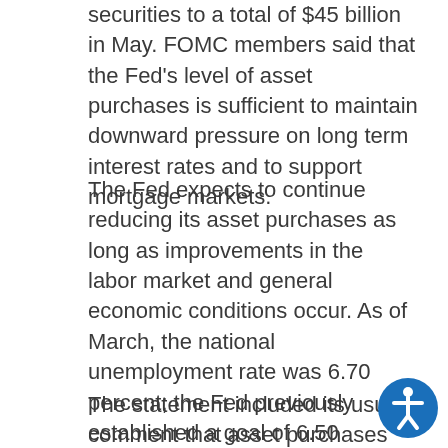securities to a total of $45 billion in May. FOMC members said that the Fed's level of asset purchases is sufficient to maintain downward pressure on long term interest rates and to support mortgage markets.
The Fed expects to continue reducing its asset purchases as long as improvements in the labor market and general economic conditions occur. As of March, the national unemployment rate was 6.70 percent; the Fed previously established a goal of 6.50 percent unemployment as an indicator of economic recovery.
The statement included its usual comment that asset purchases are not on a pre-set course and that FOMC members monitor economic reports